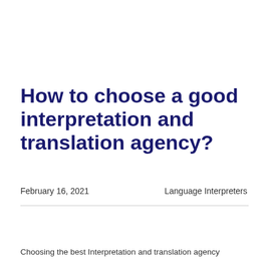How to choose a good interpretation and translation agency?
February 16, 2021      Language Interpreters
Choosing the best Interpretation and translation agency